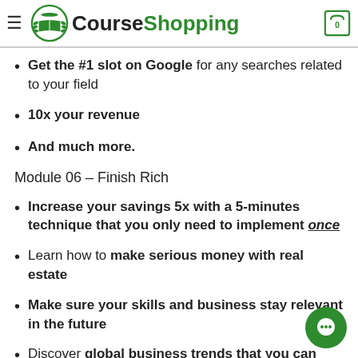CourseShopping
Get the #1 slot on Google for any searches related to your field
10x your revenue
And much more.
Module 06 – Finish Rich
Increase your savings 5x with a 5-minutes technique that you only need to implement once
Learn how to make serious money with real estate
Make sure your skills and business stay relevant in the future
Discover global business trends that you can leverage to reap massive gains in the next five, ten, or even twenty...